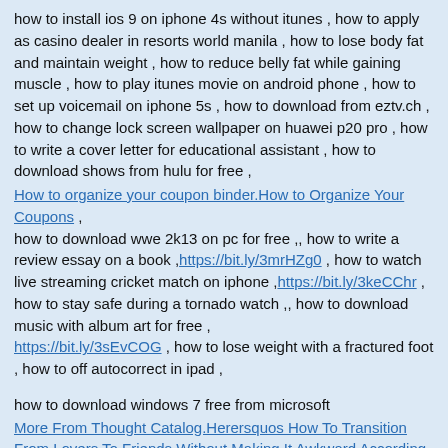how to install ios 9 on iphone 4s without itunes , how to apply as casino dealer in resorts world manila , how to lose body fat and maintain weight , how to reduce belly fat while gaining muscle , how to play itunes movie on android phone , how to set up voicemail on iphone 5s , how to download from eztv.ch , how to change lock screen wallpaper on huawei p20 pro , how to write a cover letter for educational assistant , how to download shows from hulu for free ,
How to organize your coupon binder.How to Organize Your Coupons , how to download wwe 2k13 on pc for free ,, how to write a review essay on a book ,https://bit.ly/3mrHZg0 , how to watch live streaming cricket match on iphone ,https://bit.ly/3keCChr , how to stay safe during a tornado watch ,, how to download music with album art for free , https://bit.ly/3sEvCOG , how to lose weight with a fractured foot , how to off autocorrect in ipad ,
how to download windows 7 free from microsoft
More From Thought Catalog.Herersquos How To Transition From Lovers To Friends Without Making It Awkward According To An Expert
how to download fanfiction.net to kindle
How to ask a girl if she is dating.When Itrsquos Time to Ask a Girl Out on a Date Without Getting Rejected
how to lose belly fat while drinking alcohol
https://bit.ly/3mmQ4SW
how to cancel loan in cashwagon